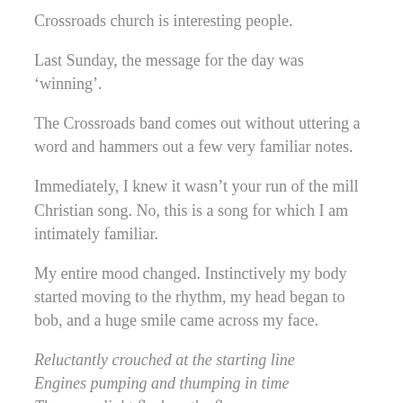Crossroads church is interesting people.
Last Sunday, the message for the day was ‘winning’.
The Crossroads band comes out without uttering a word and hammers out a few very familiar notes.
Immediately, I knew it wasn’t your run of the mill Christian song. No, this is a song for which I am intimately familiar.
My entire mood changed. Instinctively my body started moving to the rhythm, my head began to bob, and a huge smile came across my face.
Reluctantly crouched at the starting line
Engines pumping and thumping in time
The green light flashes, the flags go up